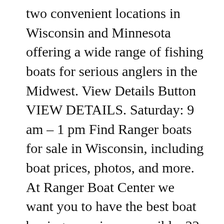two convenient locations in Wisconsin and Minnesota offering a wide range of fishing boats for serious anglers in the Midwest. View Details Button VIEW DETAILS. Saturday: 9 am – 1 pm Find Ranger boats for sale in Wisconsin, including boat prices, photos, and more. At Ranger Boat Center we want you to have the best boat buying experience possible. 22 ft. Request Price. 2002 Ranger 175C Great deal with a twist! Interested in learning more or testing a Ranger boat? Ranger Boats pro angler Jacob Powroznik won Major League Fishing's Bass Pro Tour Stage Two at Lake Okeechobee on February 26. Our stress-free finance department can find financial solutions to save you money. We are a full-service boat dealer